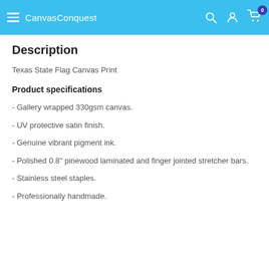CanvasConquest
Description
Texas State Flag Canvas Print
Product specifications
- Gallery wrapped 330gsm canvas.
- UV protective satin finish.
- Genuine vibrant pigment ink.
- Polished 0.8" pinewood laminated and finger jointed stretcher bars.
- Stainless steel staples.
- Professionally handmade.